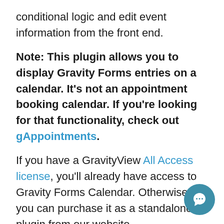conditional logic and edit event information from the front end.
Note: This plugin allows you to display Gravity Forms entries on a calendar. It's not an appointment booking calendar. If you're looking for that functionality, check out gAppointments.
If you have a GravityView All Access license, you'll already have access to Gravity Forms Calendar. Otherwise, you can purchase it as a standalone plugin from our website.
To get started with Gravity Forms Calendar, into your account, download the plugin, and